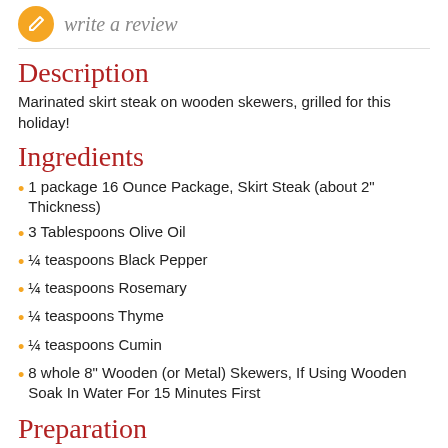write a review
Description
Marinated skirt steak on wooden skewers, grilled for this holiday!
Ingredients
1 package 16 Ounce Package, Skirt Steak (about 2" Thickness)
3 Tablespoons Olive Oil
¼ teaspoons Black Pepper
¼ teaspoons Rosemary
¼ teaspoons Thyme
¼ teaspoons Cumin
8 whole 8" Wooden (or Metal) Skewers, If Using Wooden Soak In Water For 15 Minutes First
Preparation
Marinate the skirt steak for 24 hours prior to preparing.
To marinate: In a small bowl add olive oil, pepper, rosemary, thyme and cumin and stir together. Add skirt steak into a gallon size zip-